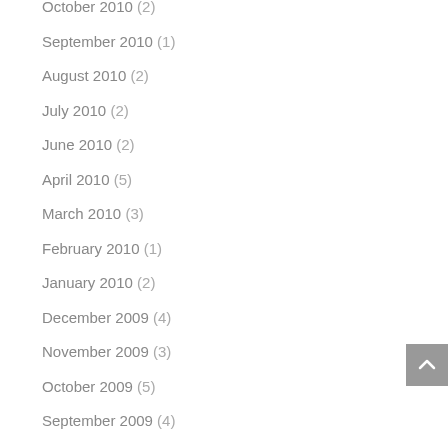October 2010 (2)
September 2010 (1)
August 2010 (2)
July 2010 (2)
June 2010 (2)
April 2010 (5)
March 2010 (3)
February 2010 (1)
January 2010 (2)
December 2009 (4)
November 2009 (3)
October 2009 (5)
September 2009 (4)
August 2009 (2)
July 2009 (4)
June 2009 (1)
May 2009 (5)
April 2009 (9)